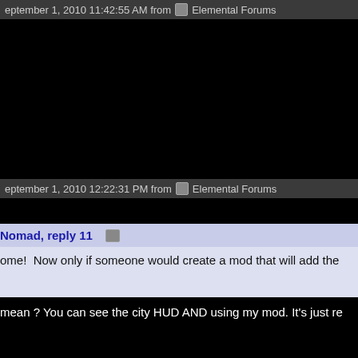eptember 1, 2010 11:42:55 AM from  Elemental Forums
[Figure (screenshot): Black region, possibly a video or image area]
eptember 1, 2010 12:22:31 PM from  Elemental Forums
[Figure (screenshot): Small black region]
Nomad, reply 11
ome!  Now only if someone would create a mod that will add the
mean ? You can see the city HUD AND using my mod. It's just re